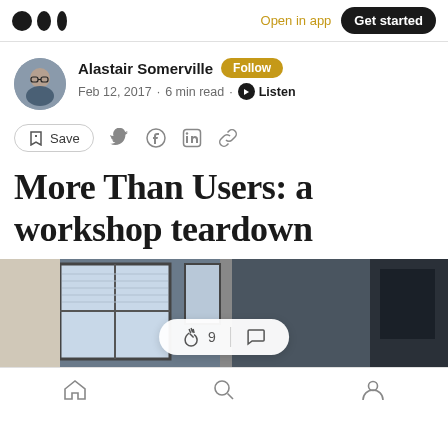Medium logo | Open in app | Get started
Alastair Somerville Follow
Feb 12, 2017 · 6 min read · Listen
Save (with social icons: Twitter, Facebook, LinkedIn, link)
More Than Users: a workshop teardown
[Figure (photo): Photograph of a workshop or office interior with windows and equipment]
Home | Search | Profile (bottom navigation)